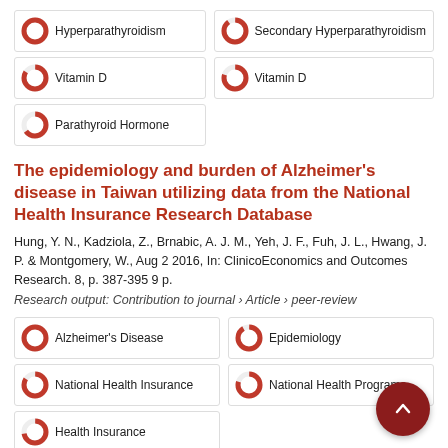Hyperparathyroidism
Secondary Hyperparathyroidism
Vitamin D
Vitamin D
Parathyroid Hormone
The epidemiology and burden of Alzheimer's disease in Taiwan utilizing data from the National Health Insurance Research Database
Hung, Y. N., Kadziola, Z., Brnabic, A. J. M., Yeh, J. F., Fuh, J. L., Hwang, J. P. & Montgomery, W., Aug 2 2016, In: ClinicoEconomics and Outcomes Research. 8, p. 387-395 9 p.
Research output: Contribution to journal › Article › peer-review
Alzheimer's Disease
Epidemiology
National Health Insurance
National Health Programs
Health Insurance